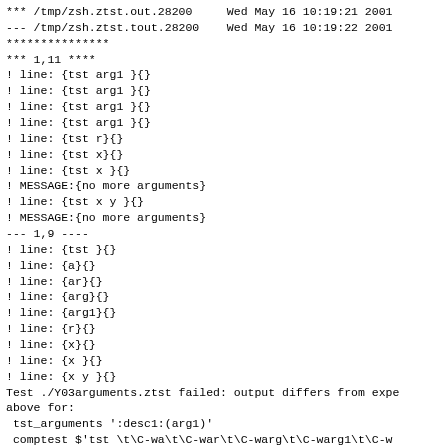*** /tmp/zsh.ztst.out.28200     Wed May 16 10:19:21 2001
--- /tmp/zsh.ztst.tout.28200    Wed May 16 10:19:22 2001
***************
*** 1,11 ****
! line: {tst arg1 }{}
! line: {tst arg1 }{}
! line: {tst arg1 }{}
! line: {tst arg1 }{}
! line: {tst r}{}
! line: {tst x}{}
! line: {tst x }{}
! MESSAGE:{no more arguments}
! line: {tst x y }{}
! MESSAGE:{no more arguments}
--- 1,9 ----
! line: {tst }{}
! line: {a}{}
! line: {ar}{}
! line: {arg}{}
! line: {arg1}{}
! line: {r}{}
! line: {x}{}
! line: {x }{}
! line: {x y }{}
Test ./Y03arguments.ztst failed: output differs from expe
above for:
 tst_arguments ':desc1:(arg1)'
 comptest $'tst \t\C-wa\t\C-war\t\C-warg\t\C-warg1\t\C-w
Was testing: one non-option argument
./Y03arguments.ztst: test failed.